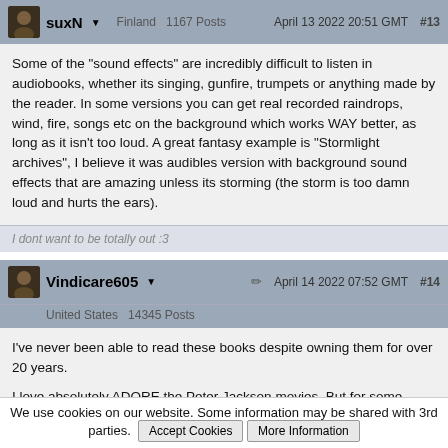suxN  Finland  1167 Posts  April 13 2022 20:51 GMT  #13
Some of the "sound effects" are incredibly difficult to listen in audiobooks, whether its singing, gunfire, trumpets or anything made by the reader. In some versions you can get real recorded raindrops, wind, fire, songs etc on the background which works WAY better, as long as it isn't too loud. A great fantasy example is "Stormlight archives", I believe it was audibles version with background sound effects that are amazing unless its storming (the storm is too damn loud and hurts the ears).
I dont want to be totally out :3
Vindicare605  April 14 2022 07:52 GMT  #14  United States  14345 Posts
I've never been able to read these books despite owning them for over 20 years.

I love absolutely ADORE the Peter Jackson movies. But for some reason I've just never been able to read the books. Every time they start singing and dancing i just put it down.
We use cookies on our website. Some information may be shared with 3rd parties.  Accept Cookies  More Information